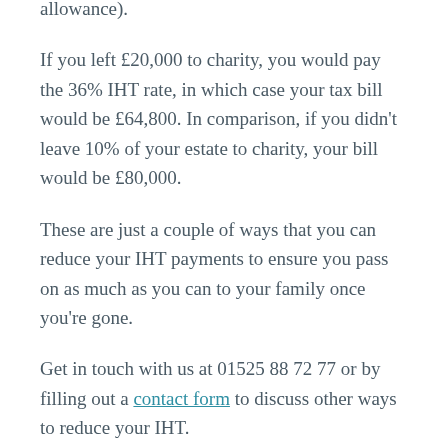allowance).
If you left £20,000 to charity, you would pay the 36% IHT rate, in which case your tax bill would be £64,800. In comparison, if you didn't leave 10% of your estate to charity, your bill would be £80,000.
These are just a couple of ways that you can reduce your IHT payments to ensure you pass on as much as you can to your family once you're gone.
Get in touch with us at 01525 88 72 77 or by filling out a contact form to discuss other ways to reduce your IHT.